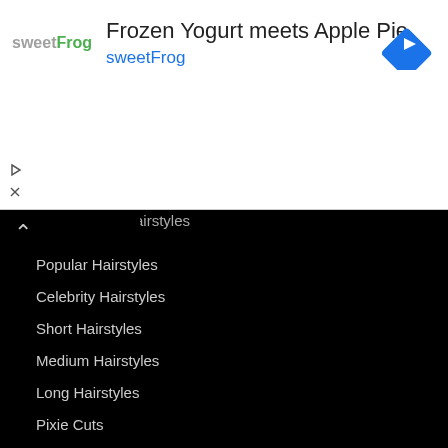[Figure (screenshot): Advertisement banner for sweetFrog frozen yogurt: logo on left, headline 'Frozen Yogurt meets Apple Pie', subline 'sweetFrog', blue diamond navigation icon on right, play and close controls on bottom left.]
Hairstyles
Popular Hairstyles
Celebrity Hairstyles
Short Hairstyles
Medium Hairstyles
Long Hairstyles
Pixie Cuts
Bob Haircuts
Asymmetrical Haircuts
Undercuts
Updo Hairstyles
Easy to Style
Mens Hairstyles
Hairstyle Search
Visual Hairstyle Stories
Wigs